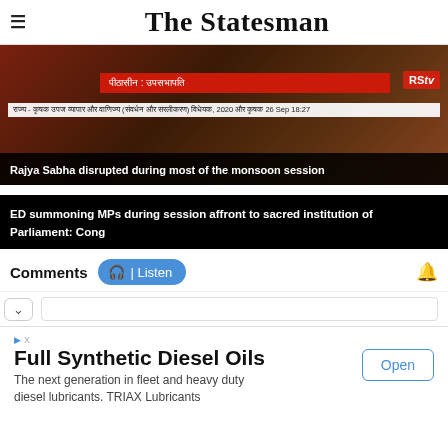The Statesman
[Figure (screenshot): News broadcast screenshot showing a Rajya Sabha session with Hindi text overlay and RSTV logo. Red bar with Hindi text: पीठासीन : उपसभापति, white lower bar with Hindi legislative text.]
Rajya Sabha disrupted during most of the monsoon session
ED summoning MPs during session affront to sacred institution of Parliament: Cong
Comments
Listen
Full Synthetic Diesel Oils
The next generation in fleet and heavy duty diesel lubricants. TRIAX Lubricants
Open